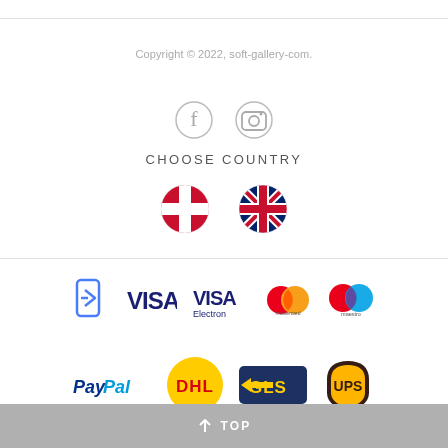Copyright © 2022, soft-gallery-com.
[Figure (illustration): Social media icons: Facebook (f) and Instagram (camera) in gray]
CHOOSE COUNTRY
[Figure (illustration): Two circular flag icons: Danish flag (red with white cross) and UK flag (Union Jack)]
[Figure (illustration): Payment method logos row 1: mobile payment icon, VISA, VISA Electron, Mastercard, Maestro]
[Figure (illustration): Payment method logos row 2: PayPal, DHL, GLS, UPS]
↑ TOP